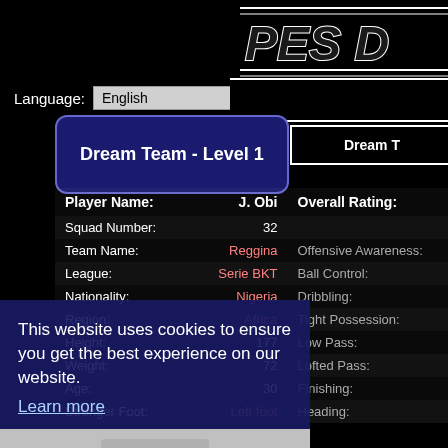[Figure (logo): PES Database logo in white italic text on black background, top right area]
Language:
[Figure (screenshot): English language dropdown selector]
Dream Team - Level 1
Dream T
| Player Name: | J. Obi | Overall Rating: |
| --- | --- | --- |
| Squad Number: | 32 |  |
| Team Name: | Reggina | Offensive Awareness: |
| League: | Serie BKT | Ball Control: |
| Nationality: | Nigeria | Dribbling: |
| Region: | Africa | Tight Possession: |
| Height: | 177 | Low Pass: |
| Weight: | 72 | Lofted Pass: |
| Age: | 30 | Finishing: |
| Stronger Foot: | Left foot | Heading: |
This website uses cookies to ensure you get the best experience on our website.
Learn more
Got it!